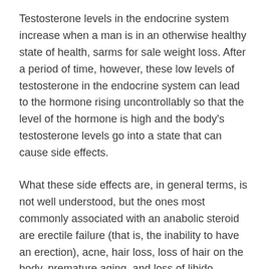Testosterone levels in the endocrine system increase when a man is in an otherwise healthy state of health, sarms for sale weight loss. After a period of time, however, these low levels of testosterone in the endocrine system can lead to the hormone rising uncontrollably so that the level of the hormone is high and the body’s testosterone levels go into a state that can cause side effects.
What these side effects are, in general terms, is not well understood, but the ones most commonly associated with an anabolic steroid are erectile failure (that is, the inability to have an erection), acne, hair loss, loss of hair on the body, premature aging, and loss of libido.
As with anything, the dosage should be